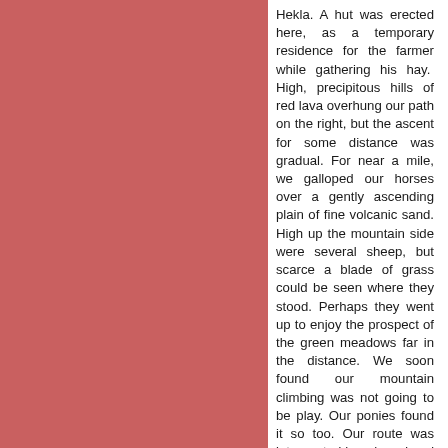[Figure (illustration): Large solid reddish-pink/salmon colored rectangle occupying the left portion of the page]
Hekla. A hut was erected here, as a temporary residence for the farmer while gathering his hay. High, precipitous hills of red lava overhung our path on the right, but the ascent for some distance was gradual. For near a mile, we galloped our horses over a gently ascending plain of fine volcanic sand. High up the mountain side were several sheep, but scarce a blade of grass could be seen where they stood. Perhaps they went up to enjoy the prospect of the green meadows far in the distance. We soon found our mountain climbing was not going to be play. Our ponies found it so too. Our route was intercepted by a broad and high stream of lava that extended six or seven miles from the summit of the mountain. We turned to the right in a southerly direction, and for four or five hundred yards found it about as steep as our ponies could climb. We took a zigzag course to relieve the